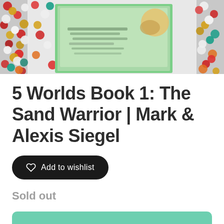[Figure (photo): Product photo of a children's book '5 Worlds Book 1: The Sand Warrior' placed on a colorful beaded/sequined surface with reds, greens, whites, yellows, and oranges.]
5 Worlds Book 1: The Sand Warrior | Mark & Alexis Siegel
Add to wishlist
Sold out
SOLD OUT